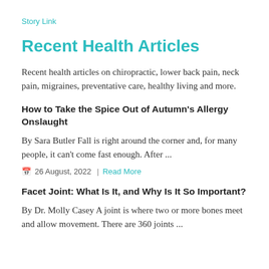Story Link
Recent Health Articles
Recent health articles on chiropractic, lower back pain, neck pain, migraines, preventative care, healthy living and more.
How to Take the Spice Out of Autumn’s Allergy Onslaught
By Sara Butler Fall is right around the corner and, for many people, it can't come fast enough. After ...
26 August, 2022  |  Read More
Facet Joint: What Is It, and Why Is It So Important?
By Dr. Molly Casey A joint is where two or more bones meet and allow movement. There are 360 joints ...